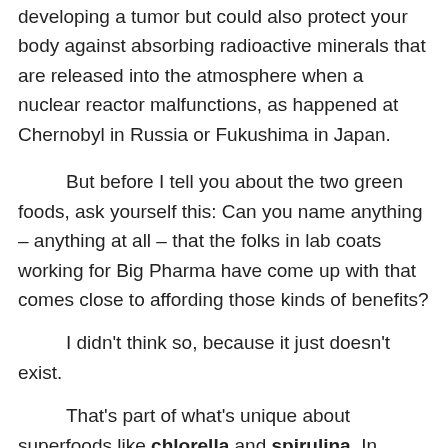developing a tumor but could also protect your body against absorbing radioactive minerals that are released into the atmosphere when a nuclear reactor malfunctions, as happened at Chernobyl in Russia or Fukushima in Japan.
But before I tell you about the two green foods, ask yourself this: Can you name anything – anything at all – that the folks in lab coats working for Big Pharma have come up with that comes close to affording those kinds of benefits?
I didn't think so, because it just doesn't exist.
That's part of what's unique about superfoods like chlorella and spirulina. In general, they way